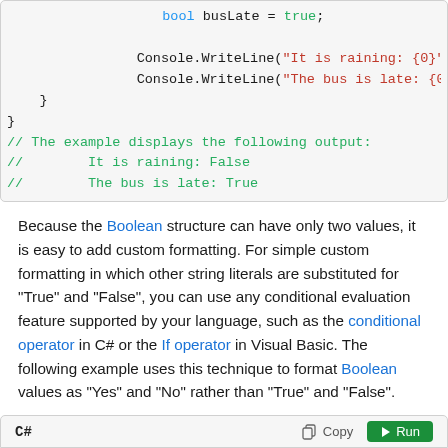[Figure (screenshot): Code block showing C# code with bool busLate = true; Console.WriteLine statements and comments showing output: It is raining: False, The bus is late: True]
Because the Boolean structure can have only two values, it is easy to add custom formatting. For simple custom formatting in which other string literals are substituted for "True" and "False", you can use any conditional evaluation feature supported by your language, such as the conditional operator in C# or the If operator in Visual Basic. The following example uses this technique to format Boolean values as "Yes" and "No" rather than "True" and "False".
[Figure (screenshot): Bottom toolbar showing C# language label, Copy button, and Run button]